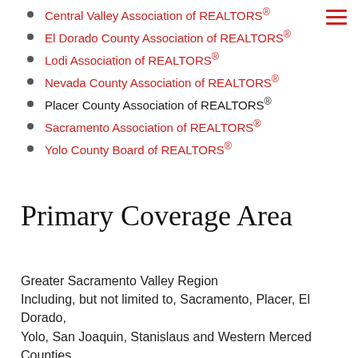Central Valley Association of REALTORS®
El Dorado County Association of REALTORS®
Lodi Association of REALTORS®
Nevada County Association of REALTORS®
Placer County Association of REALTORS®
Sacramento Association of REALTORS®
Yolo County Board of REALTORS®
Primary Coverage Area
Greater Sacramento Valley Region
Including, but not limited to, Sacramento, Placer, El Dorado, Yolo, San Joaquin, Stanislaus and Western Merced Counties